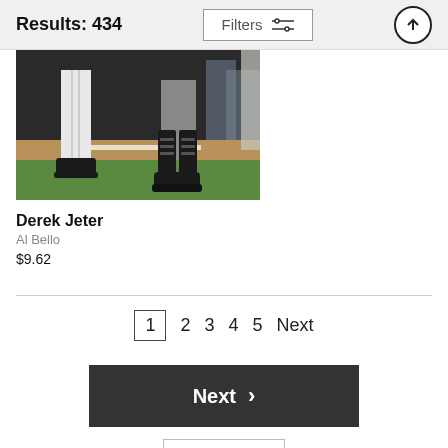Results: 434
Filters
[Figure (screenshot): Cropped photo of baseball player feet/legs at home plate on a baseball diamond, dark athletic setting]
Derek Jeter
Al Bello
$9.62
1  2  3  4  5  Next
Next >
Wall Art